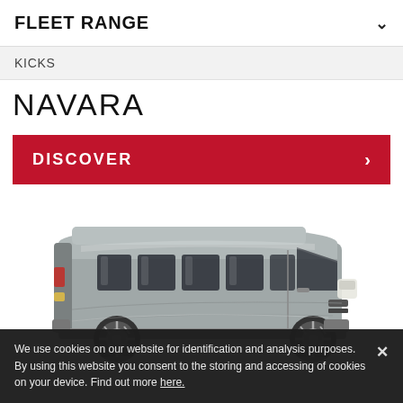FLEET RANGE
KICKS
NAVARA
DISCOVER
[Figure (photo): Side profile of a silver Nissan NV350 Urvan / Caravan large passenger van on white background]
We use cookies on our website for identification and analysis purposes. By using this website you consent to the storing and accessing of cookies on your device. Find out more here.